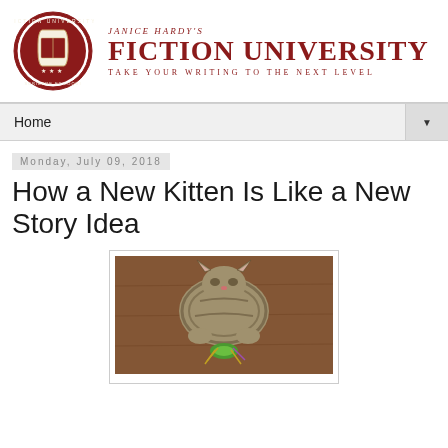Janice Hardy's Fiction University — Take Your Writing to the Next Level
Home
Monday, July 09, 2018
How a New Kitten Is Like a New Story Idea
[Figure (photo): A kitten viewed from above, playing with a green toy on a wooden floor]